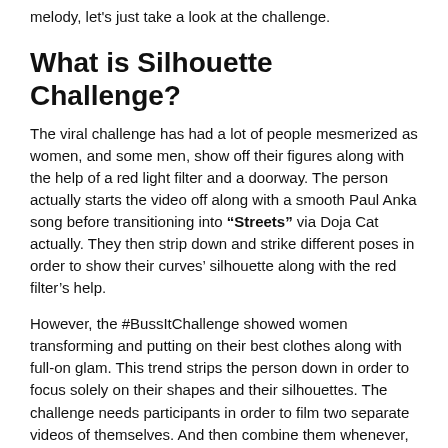melody, let's just take a look at the challenge.
What is Silhouette Challenge?
The viral challenge has had a lot of people mesmerized as women, and some men, show off their figures along with the help of a red light filter and a doorway. The person actually starts the video off along with a smooth Paul Anka song before transitioning into “Streets” via Doja Cat actually. They then strip down and strike different poses in order to show their curves’ silhouette along with the red filter’s help.
However, the #BussItChallenge showed women transforming and putting on their best clothes along with full-on glam. This trend strips the person down in order to focus solely on their shapes and their silhouettes. The challenge needs participants in order to film two separate videos of themselves. And then combine them whenever, using audio from TikTok. The videos start along with the person standing in front of the camera in regular lighting while wearing casual clothes. Along with some choosing to wear robes and